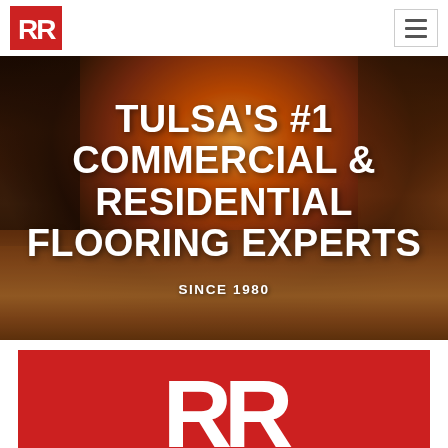[Figure (logo): Red square logo with white stylized double-R letters]
[Figure (photo): Hero image of a fireplace with wood-plank floor and text overlay: TULSA'S #1 COMMERCIAL & RESIDENTIAL FLOORING EXPERTS, SINCE 1980]
TULSA'S #1 COMMERCIAL & RESIDENTIAL FLOORING EXPERTS
SINCE 1980
[Figure (logo): Large red rectangle with partial double-R white logo letters visible at bottom of page]